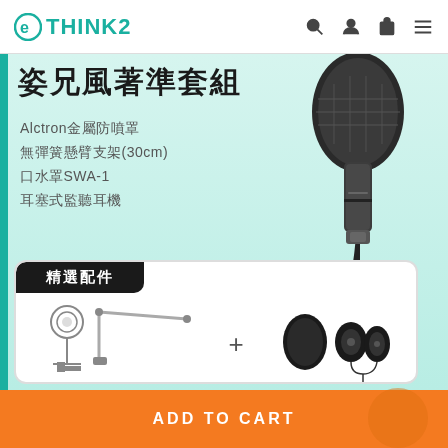THINK2
姿兄風著準套組
Alctron金屬防噴罩
無彈簧懸臂支架(30cm)
口水罩SWA-1
耳塞式監聽耳機
[Figure (photo): Microphone on tripod stand, dark gray metal body]
[Figure (photo): Accessories set: pop filter, boom arm, foam windscreen, in-ear earphones - labeled 精選配件]
ADD TO CART